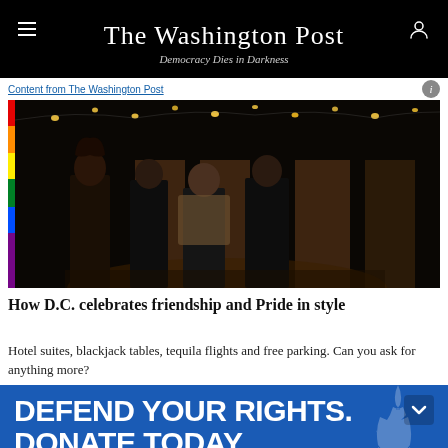The Washington Post — Democracy Dies in Darkness
Content from The Washington Post
[Figure (photo): Four people standing in front of an entrance with string lights and a rainbow-colored strip on the left side of the frame.]
How D.C. celebrates friendship and Pride in style
Hotel suites, blackjack tables, tequila flights and free parking. Can you ask for anything more?
[Figure (infographic): ACLU advertisement banner with blue background. Text reads: DEFEND YOUR RIGHTS. DONATE TODAY. with a red button labeled MATCH MY GIFT, ACLU logo, and a faint Statue of Liberty illustration on the right.]